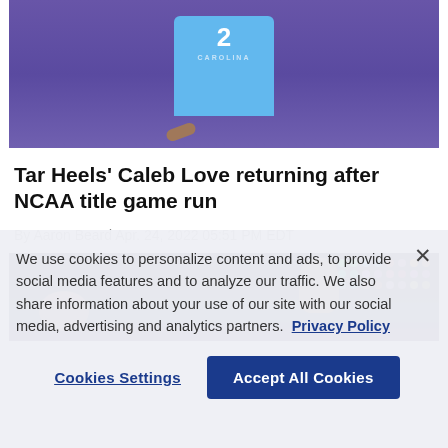[Figure (photo): Basketball player wearing Carolina #2 jersey against purple background]
Tar Heels' Caleb Love returning after NCAA title game run
By Aaron Beard Apr. 24, 2022 05:51 PM EDT
[Figure (photo): Basketball player shooting against dark arena background with colorful scoreboard lights]
We use cookies to personalize content and ads, to provide social media features and to analyze our traffic. We also share information about your use of our site with our social media, advertising and analytics partners.  Privacy Policy
Cookies Settings | Accept All Cookies